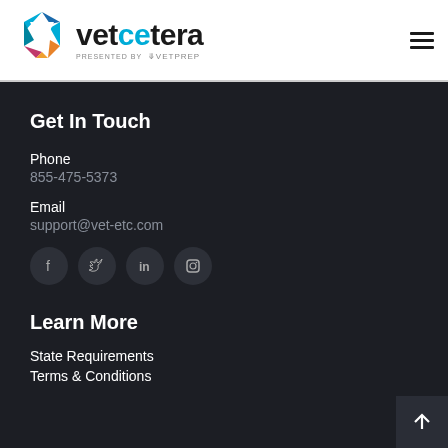[Figure (logo): Vetcetera logo with colorful V icon and text 'vetcetera presented by VetPrep']
Get In Touch
Phone
855-475-5373
Email
support@vet-etc.com
[Figure (infographic): Social media icons: Facebook, Twitter, LinkedIn, Instagram]
Learn More
State Requirements
Terms & Conditions